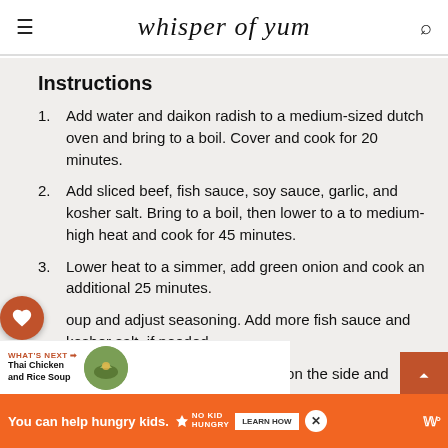whisper of yum
Instructions
Add water and daikon radish to a medium-sized dutch oven and bring to a boil. Cover and cook for 20 minutes.
Add sliced beef, fish sauce, soy sauce, garlic, and kosher salt. Bring to a boil, then lower to a to medium-high heat and cook for 45 minutes.
Lower heat to a simmer, add green onion and cook an additional 25 minutes.
oup and adjust seasoning. Add more fish sauce and kosher salt, if needed.
Serve with steamed jasmine rice on the side and
You can help hungry kids. NO KID HUNGRY LEARN HOW